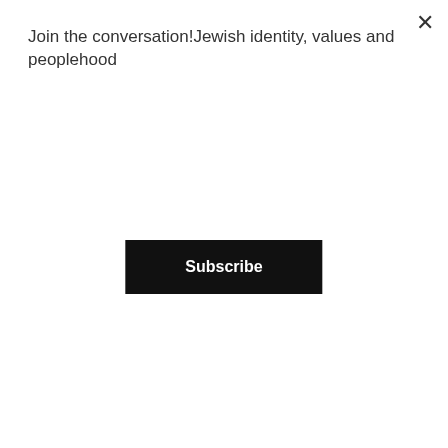Join the conversation!Jewish identity, values and peoplehood
Subscribe
brilliantly portrayed in Amos Elon’s book, The Pity of it all: A Portrait of the German-Jewish Epoch 1743-1933, which shares the intimate stories of the individuals who inhabited this period. A powerful and tragic read!
What about the First Five Commandments? How do we understand them in our day? Can these requests about how to relate to the Divinity speak to us today?
First Statement, “You shall have no other Gods before me.” Why does God worry about this? Does He have self-doubts?
Second Statement, “You shall not make for yourself a graven